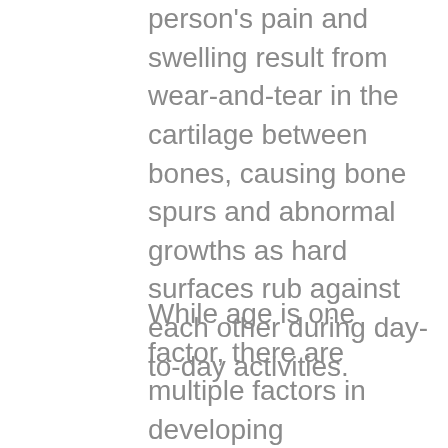person's pain and swelling result from wear-and-tear in the cartilage between bones, causing bone spurs and abnormal growths as hard surfaces rub against each other during day-to-day activities.
While age is one factor, there are multiple factors in developing degenerative arthritis, such as body weight, physical activity, and risk factors like smoking. Then there are autoimmune arthritis conditions, where the body triggers chronic and unwarranted bouts of inflammation as part of the immune system's response to a non-existent threat.
In autoimmune disorders where joints are the primary target of the immune system, symptoms of arthritic pain are rampant and debilitating. Environmental triggers